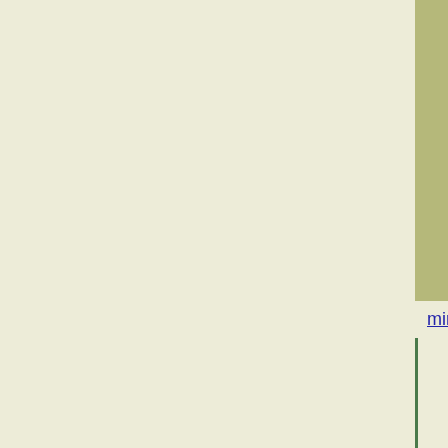| Name | Version | Date |
| --- | --- | --- |
| minibufexpl.vim | 6.2.1 | 2003-03 |